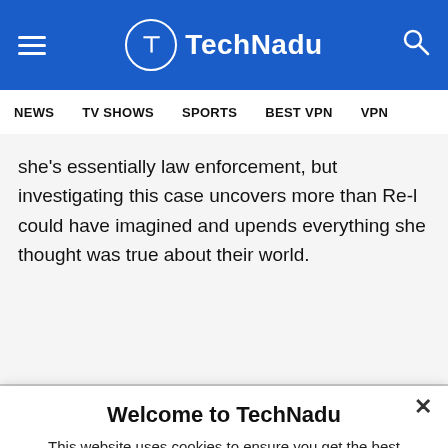TechNadu
NEWS   TV SHOWS   SPORTS   BEST VPN   VPN
she's essentially law enforcement, but investigating this case uncovers more than Re-l could have imagined and upends everything she thought was true about their world.
Welcome to TechNadu
This website uses cookies to ensure you get the best experience on our website.